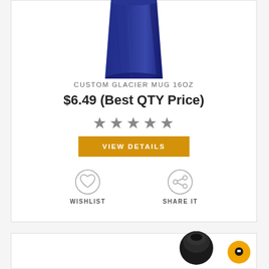[Figure (photo): Blue custom glacier mug 16oz product photo, top portion visible cropped at top of card]
CUSTOM GLACIER MUG 16OZ
$6.49 (Best QTY Price)
[Figure (other): 5 star rating icons]
VIEW DETAILS
[Figure (other): Wishlist heart icon in circle]
WISHLIST
[Figure (other): Share it icon in circle]
SHARE IT
[Figure (photo): Second product card partially visible at bottom, showing a dark colored product]
[Figure (other): Gold/yellow chat bubble button at bottom right]